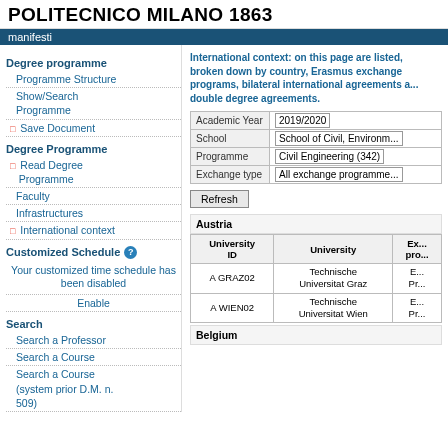POLITECNICO MILANO 1863
manifesti
Degree programme
Programme Structure
Show/Search Programme
Save Document
Degree Programme
Read Degree Programme
Faculty
Infrastructures
International context
Customized Schedule
Your customized time schedule has been disabled
Enable
Search
Search a Professor
Search a Course
Search a Course (system prior D.M. n. 509)
International context: on this page are listed, broken down by country, Erasmus exchange programs, bilateral international agreements and double degree agreements.
|  |  |
| --- | --- |
| Academic Year | 2019/2020 |
| School | School of Civil, Environm... |
| Programme | Civil Engineering (342) |
| Exchange type | All exchange programme... |
Refresh
| University ID | University | Ex... pro... |
| --- | --- | --- |
| A GRAZ02 | Technische Universitat Graz | E... Pr... |
| A WIEN02 | Technische Universitat Wien | E... Pr... |